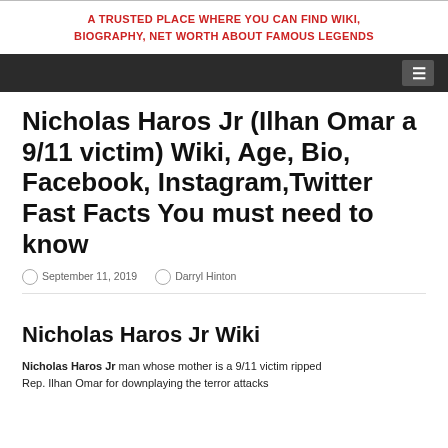A TRUSTED PLACE WHERE YOU CAN FIND WIKI, BIOGRAPHY, NET WORTH ABOUT FAMOUS LEGENDS
Nicholas Haros Jr (Ilhan Omar a 9/11 victim) Wiki, Age, Bio, Facebook, Instagram,Twitter Fast Facts You must need to know
September 11, 2019  Darryl Hinton
Nicholas Haros Jr Wiki
Nicholas Haros Jr man whose mother is a 9/11 victim ripped Rep. Ilhan Omar for downplaying the terror attacks